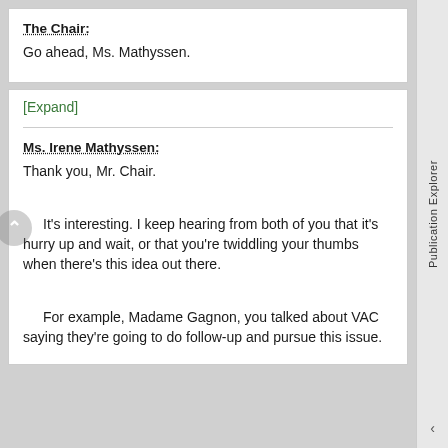The Chair: Go ahead, Ms. Mathyssen.
[Expand]
Ms. Irene Mathyssen: Thank you, Mr. Chair. It's interesting. I keep hearing from both of you that it's hurry up and wait, or that you're twiddling your thumbs when there's this idea out there. For example, Madame Gagnon, you talked about VAC saying they're going to do follow-up and pursue this issue.